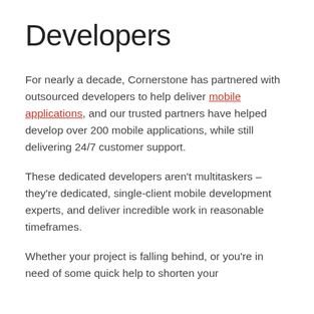Developers
For nearly a decade, Cornerstone has partnered with outsourced developers to help deliver mobile applications, and our trusted partners have helped develop over 200 mobile applications, while still delivering 24/7 customer support.
These dedicated developers aren't multitaskers – they're dedicated, single-client mobile development experts, and deliver incredible work in reasonable timeframes.
Whether your project is falling behind, or you're in need of some quick help to shorten your